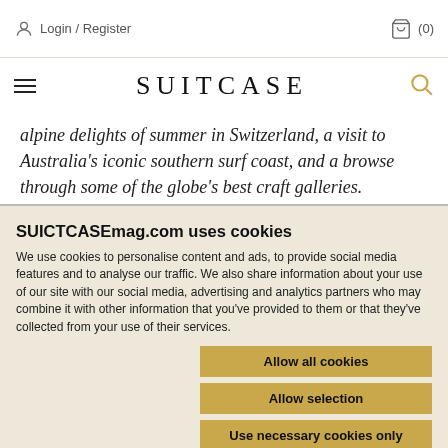Login / Register  (0)
SUITCASE
alpine delights of summer in Switzerland, a visit to Australia's iconic southern surf coast, and a browse through some of the globe's best craft galleries.
SUICTCASEmag.com uses cookies
We use cookies to personalise content and ads, to provide social media features and to analyse our traffic. We also share information about your use of our site with our social media, advertising and analytics partners who may combine it with other information that you've provided to them or that they've collected from your use of their services.
Allow all cookies
Allow selection
Use necessary cookies only
Necessary  Preferences  Statistics  Marketing  Show details